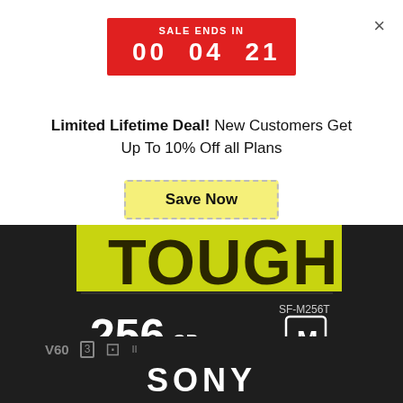[Figure (infographic): Red sale countdown banner showing SALE ENDS IN with timer 00 04 21 10]
Limited Lifetime Deal! New Customers Get Up To 10% Off all Plans
Save Now
[Figure (photo): Close-up photo of Sony TOUGH SF-M256T SD card showing 256GB, 277 R: MB/s, 150 W: MB/s, V60, U3, SDXC II markings, with SONY branding at bottom]